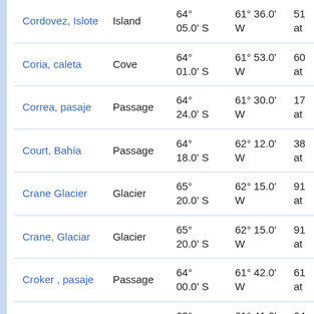| Name | Type | Latitude | Longitude |  |
| --- | --- | --- | --- | --- |
| Cordovez, Islote | Island | 64° 05.0' S | 61° 36.0' W | 51 at |
| Coria, caleta | Cove | 64° 01.0' S | 61° 53.0' W | 60 at |
| Correa, pasaje | Passage | 64° 24.0' S | 61° 30.0' W | 17 at |
| Court, Bahía | Passage | 64° 18.0' S | 62° 12.0' W | 38 at |
| Crane Glacier | Glacier | 65° 20.0' S | 62° 15.0' W | 91 at |
| Crane, Glaciar | Glacier | 65° 20.0' S | 62° 15.0' W | 91 at |
| Croker , pasaje | Passage | 64° 00.0' S | 61° 42.0' W | 61 at |
| Croker Passage | Passage | 63° 58.0' S | 61° 41.0' W | 64 at |